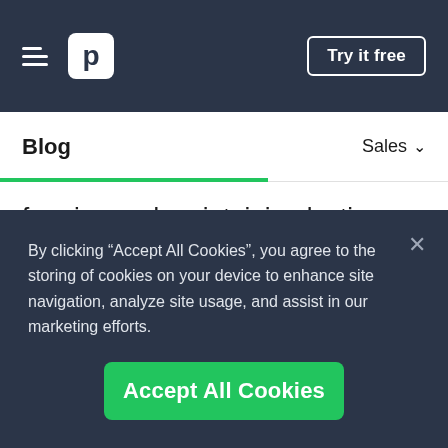p | Try it free
Blog   Sales
forming and maintaining lasting professional relationships. As customer relationships are key in most sales roles in the medical industry, you must be able to develop a trusted network, both with other medical sales professionals as well as your
By clicking “Accept All Cookies”, you agree to the storing of cookies on your device to enhance site navigation, analyze site usage, and assist in our marketing efforts.
Accept All Cookies